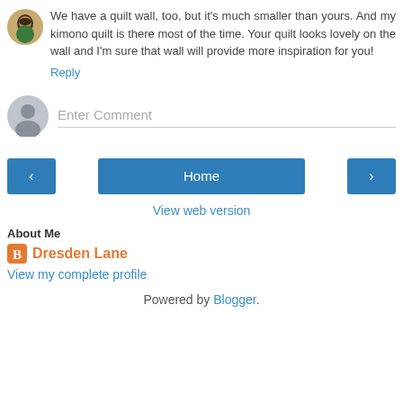We have a quilt wall, too, but it's much smaller than yours. And my kimono quilt is there most of the time. Your quilt looks lovely on the wall and I'm sure that wall will provide more inspiration for you!
Reply
Enter Comment
Home
View web version
About Me
Dresden Lane
View my complete profile
Powered by Blogger.